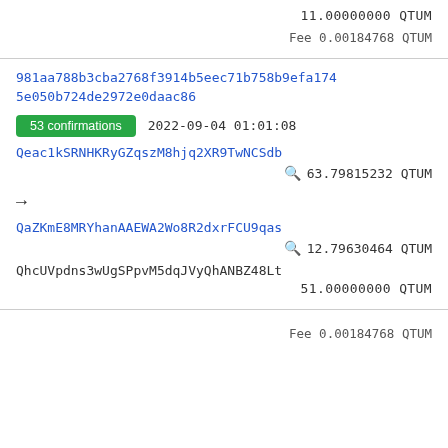11.00000000 QTUM
Fee 0.00184768 QTUM
981aa788b3cba2768f3914b5eec71b758b9efa1745e050b724de2972e0daac86
53 confirmations  2022-09-04 01:01:08
Qeac1kSRNHKRyGZqszM8hjq2XR9TwNCSdb
63.79815232 QTUM
→
QaZKmE8MRYhanAAEWA2Wo8R2dxrFCU9qas
12.79630464 QTUM
QhcUVpdns3wUgSPpvM5dqJVyQhANBZ48Lt
51.00000000 QTUM
Fee 0.00184768 QTUM